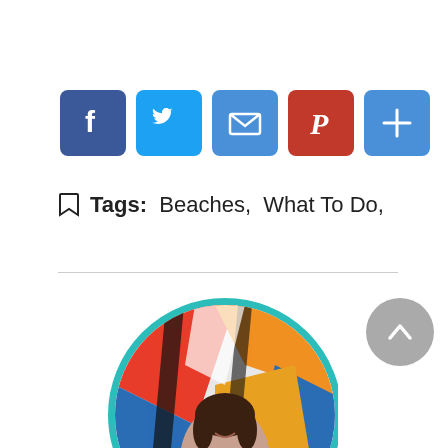[Figure (infographic): Social sharing icons: Facebook (blue), Twitter (light blue), Email (blue envelope), Pinterest (red with P), More/Plus (blue with +)]
Tags:  Beaches,  What To Do,
[Figure (photo): Circular profile photo of a young woman with dark hair, smiling, in front of a colorful graffiti wall with red, orange, blue, and yellow colors. Photo has a teal/cyan circular border.]